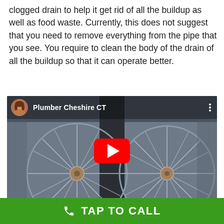clogged drain to help it get rid of all the buildup as well as food waste. Currently, this does not suggest that you need to remove everything from the pipe that you see. You require to clean the body of the drain of all the buildup so that it can operate better.
[Figure (screenshot): YouTube video thumbnail showing two large industrial fans viewed from inside a duct. Overlay shows channel avatar of a woman, channel name 'Plumber Cheshire CT', and a red YouTube play button in the center.]
TAP TO CALL